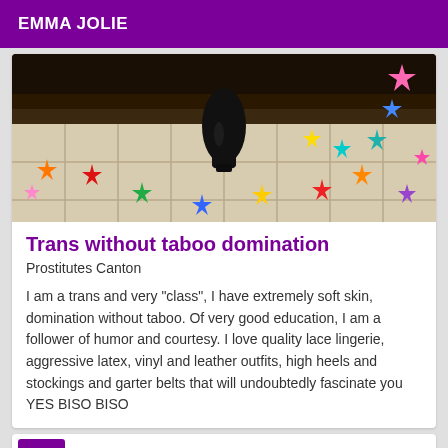EMMA JOLIE
[Figure (photo): Photo showing a tiled floor decorated with colorful star stickers in red, orange, yellow, green, blue, pink, and purple. A black high-heeled boot is visible in the center, and dark furniture is seen in the background.]
Trans without taboo domination
Prostitutes Canton
I am a trans and very "class", I have extremely soft skin, domination without taboo. Of very good education, I am a follower of humor and courtesy. I love quality lace lingerie, aggressive latex, vinyl and leather outfits, high heels and stockings and garter belts that will undoubtedly fascinate you YES BISO BISO
VIP